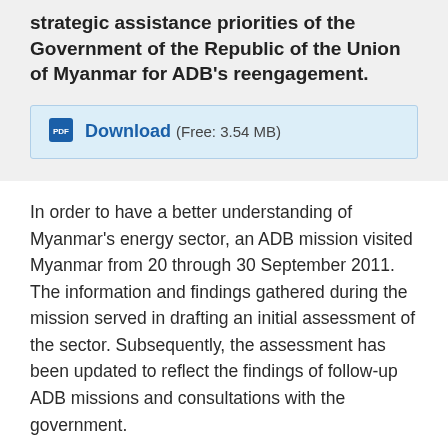strategic assistance priorities of the Government of the Republic of the Union of Myanmar for ADB's reengagement.
Download (Free: 3.54 MB)
In order to have a better understanding of Myanmar's energy sector, an ADB mission visited Myanmar from 20 through 30 September 2011. The information and findings gathered during the mission served in drafting an initial assessment of the sector. Subsequently, the assessment has been updated to reflect the findings of follow-up ADB missions and consultations with the government.